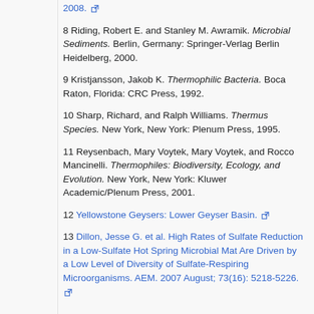2008. [external link]
8 Riding, Robert E. and Stanley M. Awramik. Microbial Sediments. Berlin, Germany: Springer-Verlag Berlin Heidelberg, 2000.
9 Kristjansson, Jakob K. Thermophilic Bacteria. Boca Raton, Florida: CRC Press, 1992.
10 Sharp, Richard, and Ralph Williams. Thermus Species. New York, New York: Plenum Press, 1995.
11 Reysenbach, Mary Voytek, Mary Voytek, and Rocco Mancinelli. Thermophiles: Biodiversity, Ecology, and Evolution. New York, New York: Kluwer Academic/Plenum Press, 2001.
12 Yellowstone Geysers: Lower Geyser Basin. [external link]
13 Dillon, Jesse G. et al. High Rates of Sulfate Reduction in a Low-Sulfate Hot Spring Microbial Mat Are Driven by a Low Level of Diversity of Sulfate-Respiring Microorganisms. AEM. 2007 August; 73(16): 5218-5226. [external link]